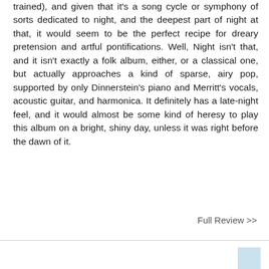trained), and given that it's a song cycle or symphony of sorts dedicated to night, and the deepest part of night at that, it would seem to be the perfect recipe for dreary pretension and artful pontifications. Well, Night isn't that, and it isn't exactly a folk album, either, or a classical one, but actually approaches a kind of sparse, airy pop, supported by only Dinnerstein's piano and Merritt's vocals, acoustic guitar, and harmonica. It definitely has a late-night feel, and it would almost be some kind of heresy to play this album on a bright, shiny day, unless it was right before the dawn of it.
Full Review >>